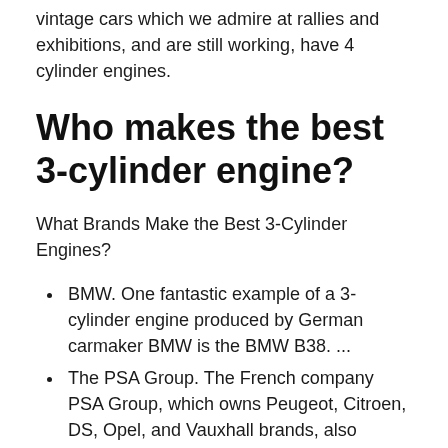vintage cars which we admire at rallies and exhibitions, and are still working, have 4 cylinder engines.
Who makes the best 3-cylinder engine?
What Brands Make the Best 3-Cylinder Engines?
BMW. One fantastic example of a 3-cylinder engine produced by German carmaker BMW is the BMW B38. ...
The PSA Group. The French company PSA Group, which owns Peugeot, Citroen, DS, Opel, and Vauxhall brands, also makes a series of 3-cylinder engines. ...